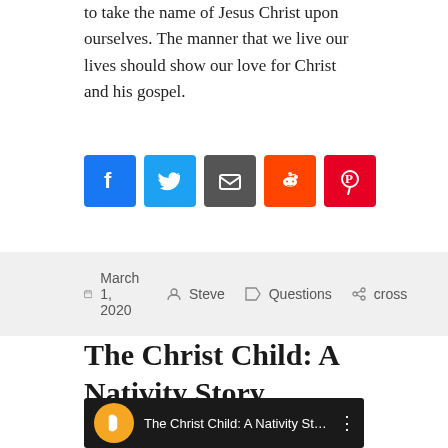to take the name of Jesus Christ upon ourselves. The manner that we live our lives should show our love for Christ and his gospel.
[Figure (other): Social sharing buttons: Facebook, Twitter, Email, Reddit, Pinterest]
March 1, 2020  Steve  Questions  cross
The Christ Child: A Nativity Story
[Figure (screenshot): YouTube video thumbnail for 'The Christ Child: A Nativity Sto...' with play button and dark background showing nativity scene]